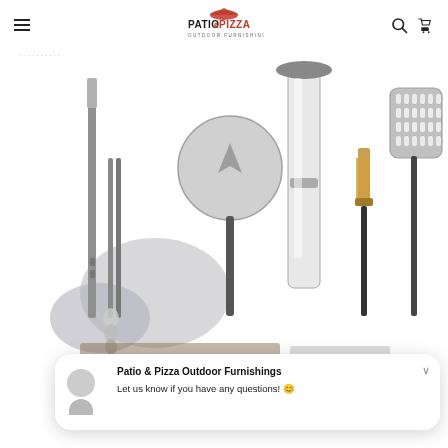Patio & Pizza Outdoor Furnishings — navigation header with hamburger menu, logo, search and cart icons
[Figure (photo): Product photo showing various pizza oven tools and accessories: pizza peels (round and rectangular perforated), a chimney/flue pipe, a brush/cleaning tool, tongs, and a cover, arranged on a white background]
Patio & Pizza Outdoor Furnishings
Let us know if you have any questions! 😊